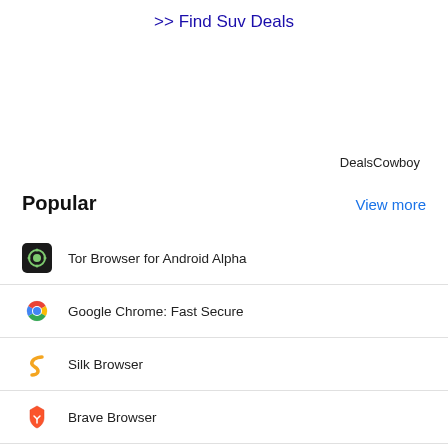>> Find Suv Deals
DealsCowboy
Popular
View more
Tor Browser for Android Alpha
Google Chrome: Fast Secure
Silk Browser
Brave Browser
Firefox Browser: fast private safe web browser
Firefox Lite - Fast and Lightweight Web Browser
UC Browser Mini